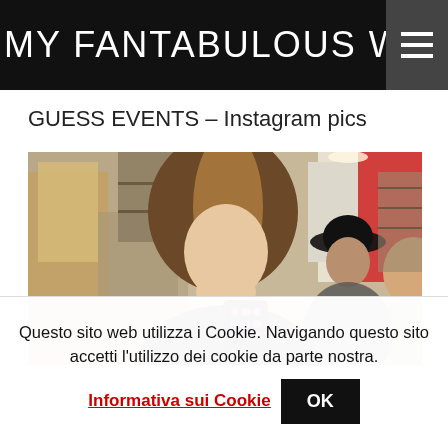MY FANTABULOUS WORLD
GUESS EVENTS – Instagram pics
[Figure (photo): A woman with long hair looking down at her phone in what appears to be a GUESS clothing store, with another person in a black hat visible in the background mirror.]
Questo sito web utilizza i Cookie. Navigando questo sito accetti l'utilizzo dei cookie da parte nostra.
Informativa sui Cookie  OK